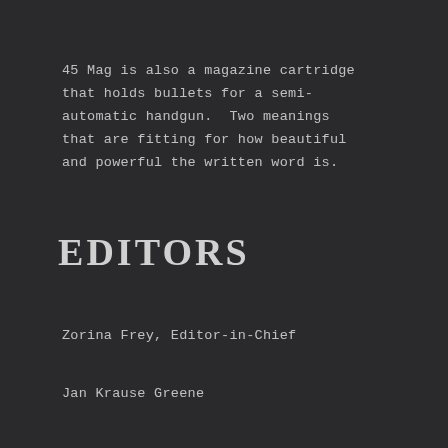45 Mag is also a magazine cartridge that holds bullets for a semi-automatic handgun. Two meanings that are fitting for how beautiful and powerful the written word is.
EDITORS
Zorina Frey, Editor-in-Chief
Jan Krause Greene